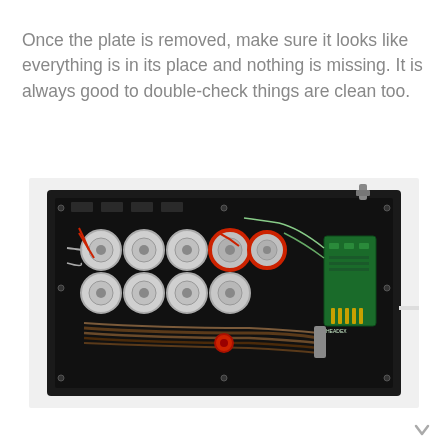Once the plate is removed, make sure it looks like everything is in its place and nothing is missing. It is always good to double-check things are clean too.
[Figure (photo): Interior view of an electronic enclosure with the cover plate removed, showing multiple potentiometers/knobs with red and silver wiring, a green PCB circuit board on the right side, and a bundle of brown wires routed through the black metal chassis.]